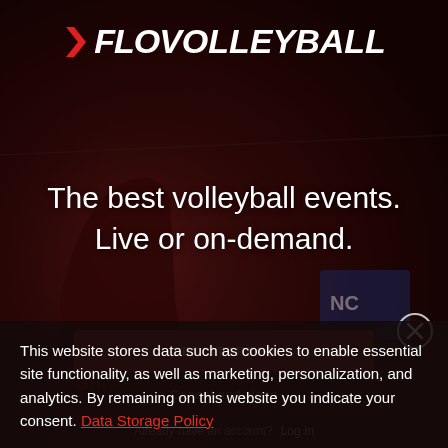[Figure (screenshot): Background photo of a volleyball player in red Ohio State jersey celebrating, dark reddish overlay, indoor sports arena]
FloVolleyball
The best volleyball events. Live or on-demand.
GET STARTED
Cancel and close
Already have an account? Log In
This website stores data such as cookies to enable essential site functionality, as well as marketing, personalization, and analytics. By remaining on this website you indicate your consent. Data Storage Policy